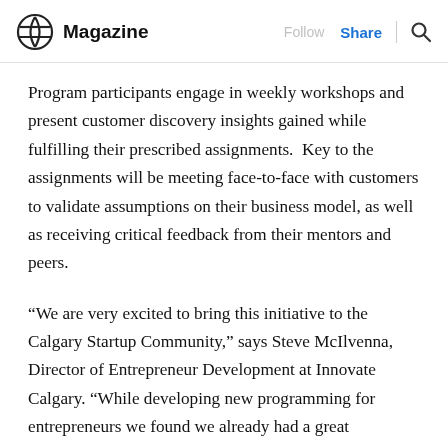Magazine  Follow  Share  Search
Program participants engage in weekly workshops and present customer discovery insights gained while fulfilling their prescribed assignments.  Key to the assignments will be meeting face-to-face with customers to validate assumptions on their business model, as well as receiving critical feedback from their mentors and peers.
“We are very excited to bring this initiative to the Calgary Startup Community,” says Steve McIlvenna, Director of Entrepreneur Development at Innovate Calgary. “While developing new programming for entrepreneurs we found we already had a great alignment with Steve Blank’s approach and his thought leadership. We were